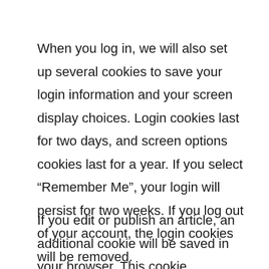When you log in, we will also set up several cookies to save your login information and your screen display choices. Login cookies last for two days, and screen options cookies last for a year. If you select “Remember Me”, your login will persist for two weeks. If you log out of your account, the login cookies will be removed.
If you edit or publish an article, an additional cookie will be saved in your browser. This cookie